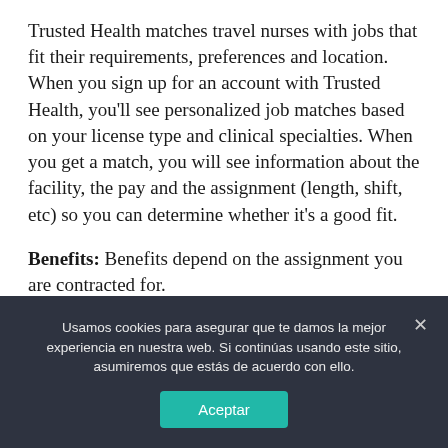Trusted Health matches travel nurses with jobs that fit their requirements, preferences and location. When you sign up for an account with Trusted Health, you'll see personalized job matches based on your license type and clinical specialties. When you get a match, you will see information about the facility, the pay and the assignment (length, shift, etc) so you can determine whether it's a good fit.
Benefits: Benefits depend on the assignment you are contracted for.
Usamos cookies para asegurar que te damos la mejor experiencia en nuestra web. Si continúas usando este sitio, asumiremos que estás de acuerdo con ello.